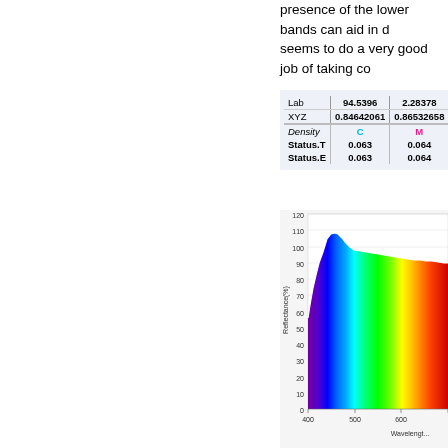presence of the lower bands can aid in d... seems to do a very good job of taking co...
|  | Col1 | Col2 | Col3 |
| --- | --- | --- | --- |
| Lab | 94.5396 | 2.28378 | -6.8... |
| XYZ | 0.84642061 | 0.86532658 | 0.794... |
| Density | C | M | Y |
| Status.T | 0.063 | 0.064 | 0.027 |
| Status.E | 0.063 | 0.064 | 0.026 |
[Figure (continuous-plot): Reflectance (%) vs Wavelength (nm) spectrum chart showing a rainbow-colored filled area. Y-axis: 0 to 120, labeled Reflectance(%). X-axis: 400 to ~700+, labeled Wavelengt... The spectrum rises steeply in the violet/blue region around 400-470nm reaching ~105%, then drops slightly before rising through green, yellow, orange to a plateau around 85-90% through the red region.]